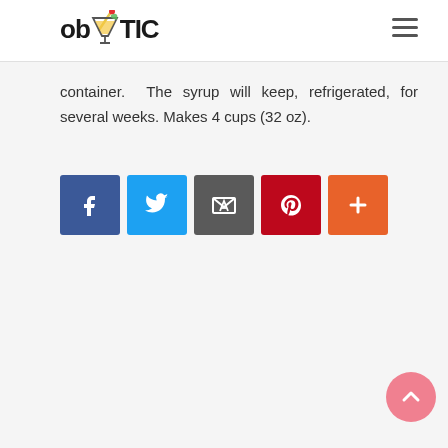obYTIC
container. The syrup will keep, refrigerated, for several weeks. Makes 4 cups (32 oz).
[Figure (infographic): Row of five social media sharing buttons: Facebook (blue), Twitter (light blue), Email/Feedburner (dark gray), Pinterest (red), and a plus/more button (orange-red)]
[Figure (other): Back-to-top circular button (pink/salmon color) with upward chevron arrow, positioned bottom-right]